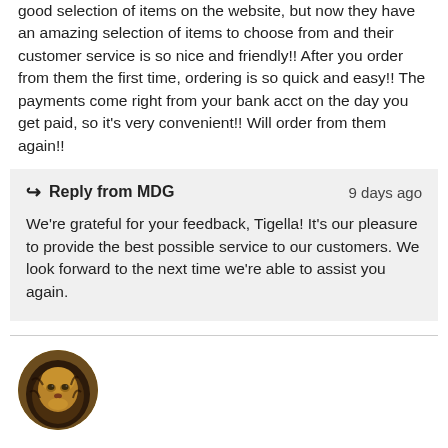good selection of items on the website, but now they have an amazing selection of items to choose from and their customer service is so nice and friendly!! After you order from them the first time, ordering is so quick and easy!! The payments come right from your bank acct on the day you get paid, so it's very convenient!! Will order from them again!!
Reply from MDG   9 days ago
We're grateful for your feedback, Tigella! It's our pleasure to provide the best possible service to our customers. We look forward to the next time we're able to assist you again.
[Figure (photo): Circular avatar image of a lion's face with dark mane]